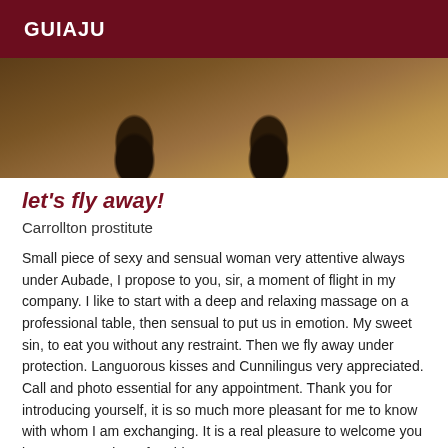GUIAJU
[Figure (photo): Photo showing legs with high heels on a wooden floor, cropped, dark/dim lighting]
let's fly away!
Carrollton prostitute
Small piece of sexy and sensual woman very attentive always under Aubade, I propose to you, sir, a moment of flight in my company. I like to start with a deep and relaxing massage on a professional table, then sensual to put us in emotion. My sweet sin, to eat you without any restraint. Then we fly away under protection. Languorous kisses and Cunnilingus very appreciated. Call and photo essential for any appointment. Thank you for introducing yourself, it is so much more pleasant for me to know with whom I am exchanging. It is a real pleasure to welcome you in my cosy and comfortable